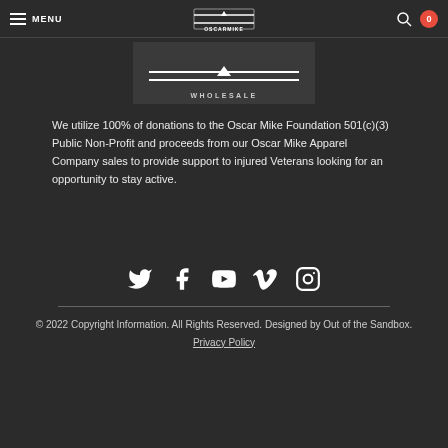MENU | OSCAR MIKE | Search | Cart 0
[Figure (logo): Oscar Mike Wholesale logo with horizontal lines and star, text WHOLESALE below]
We utilize 100% of donations to the Oscar Mike Foundation 501(c)(3) Public Non-Profit and proceeds from our Oscar Mike Apparel Company sales to provide support to injured Veterans looking for an opportunity to stay active.
[Figure (other): Social media icons row: Twitter, Facebook, YouTube, Vimeo, Instagram]
© 2022 Copyright Information. All Rights Reserved. Designed by Out of the Sandbox. Privacy Policy